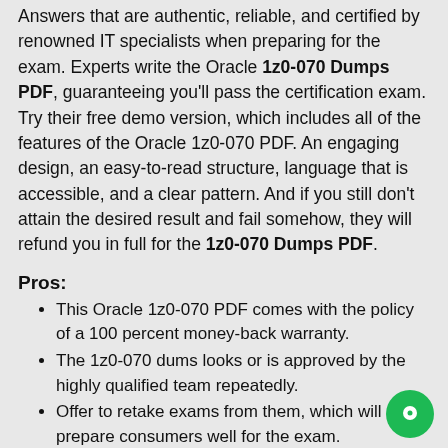Answers that are authentic, reliable, and certified by renowned IT specialists when preparing for the exam. Experts write the Oracle 1z0-070 Dumps PDF, guaranteeing you'll pass the certification exam. Try their free demo version, which includes all of the features of the Oracle 1z0-070 PDF. An engaging design, an easy-to-read structure, language that is accessible, and a clear pattern. And if you still don't attain the desired result and fail somehow, they will refund you in full for the 1z0-070 Dumps PDF.
Pros:
This Oracle 1z0-070 PDF comes with the policy of a 100 percent money-back warranty.
The 1z0-070 dums looks or is approved by the highly qualified team repeatedly.
Offer to retake exams from them, which will prepare consumers well for the exam.
They give shoppers or candidates the warranty of passing the tests without any